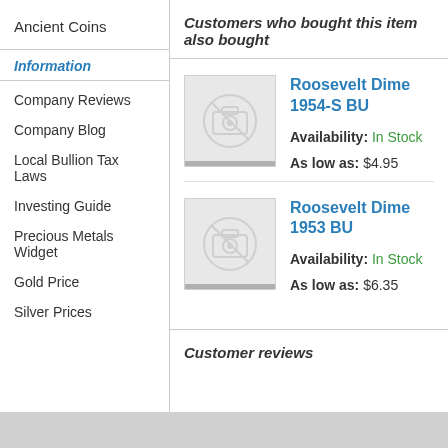Ancient Coins
Information
Company Reviews
Company Blog
Local Bullion Tax Laws
Investing Guide
Precious Metals Widget
Gold Price
Silver Prices
Customers who bought this item also bought
[Figure (photo): Product image placeholder for Roosevelt Dime 1954-S BU]
Roosevelt Dime 1954-S BU
Availability: In Stock
As low as: $4.95
[Figure (photo): Product image placeholder for Roosevelt Dime 1953 BU]
Roosevelt Dime 1953 BU
Availability: In Stock
As low as: $6.35
Customer reviews